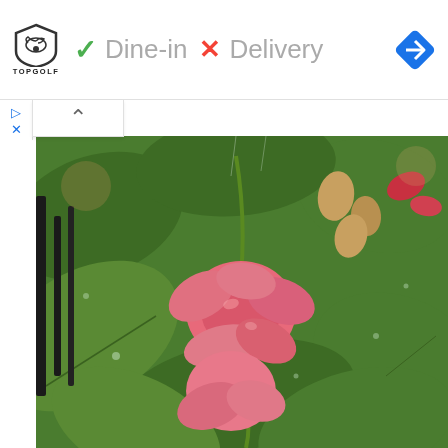[Figure (screenshot): Top bar with Topgolf logo, green checkmark Dine-in, red X Delivery, and blue navigation diamond icon]
[Figure (photo): Close-up photo of pink/red flowers with green leaves covered in raindrops]